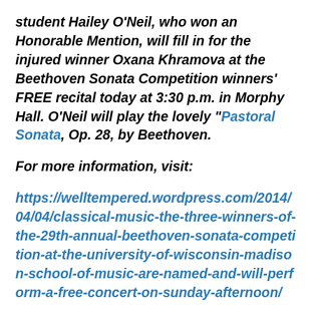student Hailey O'Neil, who won an Honorable Mention, will fill in for the injured winner Oxana Khramova at the Beethoven Sonata Competition winners' FREE recital today at 3:30 p.m. in Morphy Hall. O'Neil will play the lovely "Pastoral Sonata, Op. 28, by Beethoven.
For more information, visit:
https://welltempered.wordpress.com/2014/04/04/classical-music-the-three-winners-of-the-29th-annual-beethoven-sonata-competition-at-the-university-of-wisconsin-madison-school-of-music-are-named-and-will-perform-a-free-concert-on-sunday-afternoon/
Of course the Beethoven Sonata concert unfortunately conflicts with the last